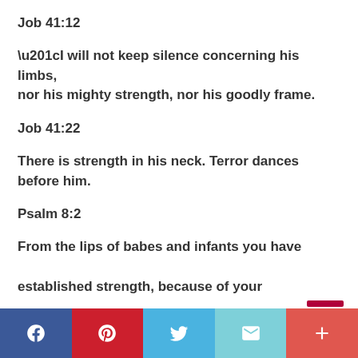Job 41:12
“I will not keep silence concerning his limbs, nor his mighty strength, nor his goodly frame.
Job 41:22
There is strength in his neck. Terror dances before him.
Psalm 8:2
From the lips of babes and infants you have established strength, because of your adversaries, that you might silence the enemy
Social share buttons: Facebook, Pinterest, Twitter, Email, More